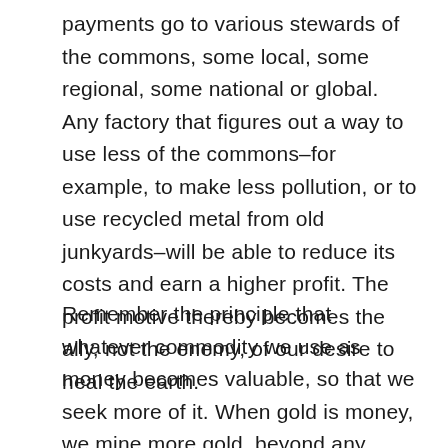payments go to various stewards of the commons, some local, some regional, some national or global. Any factory that figures out a way to use less of the commons–for example, to make less pollution, or to use recycled metal from old junkyards–will be able to reduce its costs and earn a higher profit. The profit motive thereby becomes the ally, not the enemy, of our desire to heal the earth.
Remember the principle that whatever commodity we use as money becomes valuable, so that we seek more of it. When gold is money, we mine more gold, beyond any practical need for it. In societies where cattle are